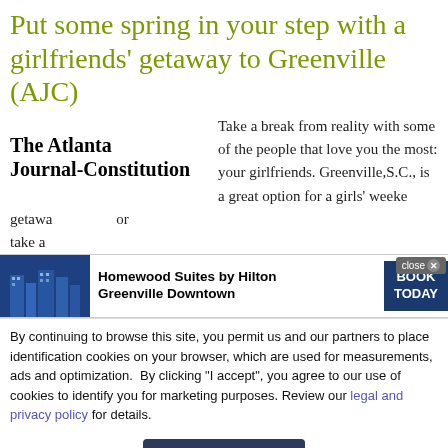Put some spring in your step with a girlfriends' getaway to Greenville (AJC)
[Figure (logo): The Atlanta Journal-Constitution logo in bold serif text]
Take a break from reality with some of the people that love you the most: your girlfriends. Greenville,S.C., is a great option for a girls' weekend getaway or take a
[Figure (infographic): Advertisement banner: Homewood Suites by Hilton Greenville Downtown with hotel building image and BOOK TODAY button. Close button in top right.]
By continuing to browse this site, you permit us and our partners to place identification cookies on your browser, which are used for measurements, ads and optimization.  By clicking "I accept", you agree to our use of cookies to identify you for marketing purposes. Review our legal and privacy policy for details.
I ACCEPT